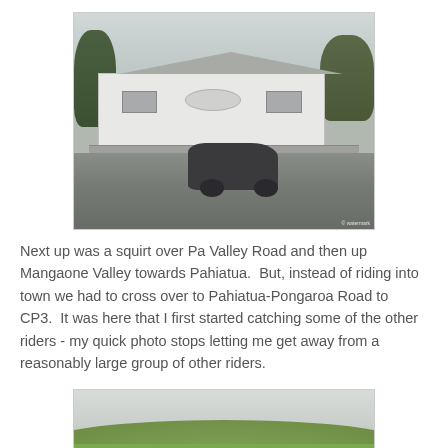[Figure (photo): A motorcycle parked in front of a white single-story building with a hipped roof, fence in the background, trees on both sides, under an overcast sky.]
Next up was a squirt over Pa Valley Road and then up Mangaone Valley towards Pahiatua.  But, instead of riding into town we had to cross over to Pahiatua-Pongaroa Road to CP3.  It was here that I first started catching some of the other riders - my quick photo stops letting me get away from a reasonably large group of other riders.
[Figure (photo): Partial view of a rural landscape with green hills and overcast sky.]